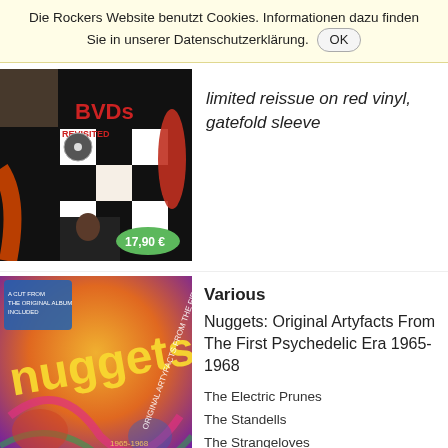Die Rockers Website benutzt Cookies. Informationen dazu finden Sie in unserer Datenschutzerklärung. OK
[Figure (photo): Album cover mosaic — BVDs Revisited, black-and-white checkered pattern with various images, red vinyl disc visible, price badge 17,90 €]
limited reissue on red vinyl, gatefold sleeve
[Figure (photo): Album cover for Nuggets: Original Artyfacts From The First Psychedelic Era 1965-1968, colorful psychedelic artwork with large yellow Nuggets lettering on orange/red background]
Various
Nuggets: Original Artyfacts From The First Psychedelic Era 1965-1968

The Electric Prunes
The Standells
The Strangeloves
The Knickerbockers
The Lemon Drops